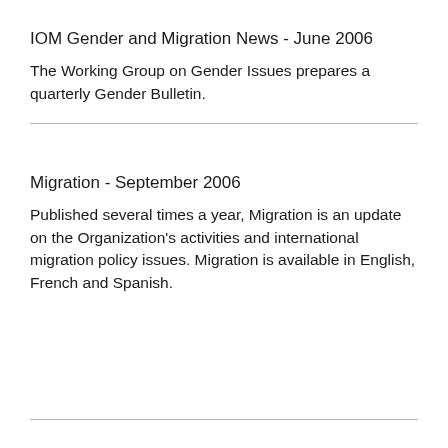IOM Gender and Migration News - June 2006
The Working Group on Gender Issues prepares a quarterly Gender Bulletin.
Migration - September 2006
Published several times a year, Migration is an update on the Organization's activities and international migration policy issues. Migration is available in English, French and Spanish.